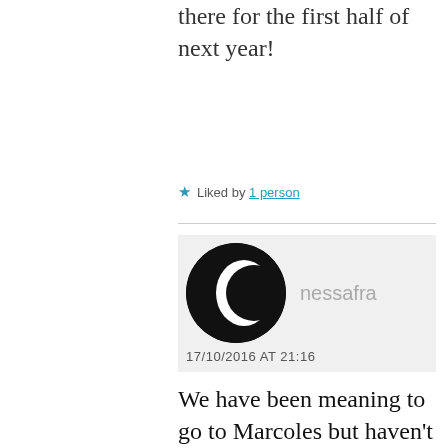there for the first half of next year!
★ Liked by 1 person
[Figure (photo): User avatar: black circle with crescent moon shape. Username 'nessafra' shown to the right. Timestamp 17/10/2016 AT 21:16 below.]
We have been meaning to go to Marcoles but haven't yet got there. I know what you mean about not thinking of